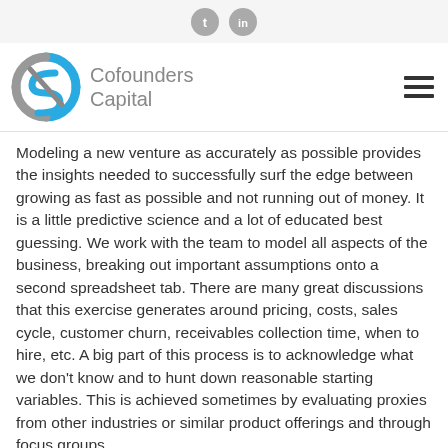Twitter and LinkedIn social icons
[Figure (logo): Cofounders Capital logo with blue swirl graphic and gray text reading 'Cofounders Capital', plus hamburger menu icon on the right]
Modeling a new venture as accurately as possible provides the insights needed to successfully surf the edge between growing as fast as possible and not running out of money. It is a little predictive science and a lot of educated best guessing. We work with the team to model all aspects of the business, breaking out important assumptions onto a second spreadsheet tab. There are many great discussions that this exercise generates around pricing, costs, sales cycle, customer churn, receivables collection time, when to hire, etc. A big part of this process is to acknowledge what we don't know and to hunt down reasonable starting variables. This is achieved sometimes by evaluating proxies from other industries or similar product offerings and through focus groups...